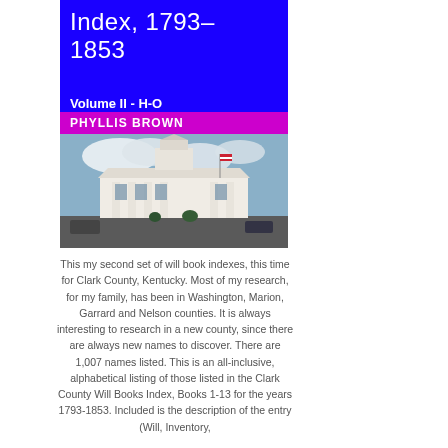Index, 1793-1853
Volume II - H-O
PHYLLIS BROWN
[Figure (photo): Photograph of a white classical courthouse building with columns, a clock tower, and an American flag, under a partly cloudy sky. Street scene in foreground.]
This my second set of will book indexes, this time for Clark County, Kentucky. Most of my research, for my family, has been in Washington, Marion, Garrard and Nelson counties. It is always interesting to research in a new county, since there are always new names to discover. There are 1,007 names listed. This is an all-inclusive, alphabetical listing of those listed in the Clark County Will Books Index, Books 1-13 for the years 1793-1853. Included is the description of the entry (Will, Inventory,